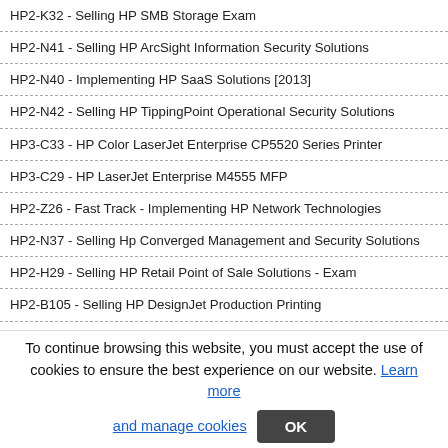HP2-K32 - Selling HP SMB Storage Exam
HP2-N41 - Selling HP ArcSight Information Security Solutions
HP2-N40 - Implementing HP SaaS Solutions [2013]
HP2-N42 - Selling HP TippingPoint Operational Security Solutions
HP3-C33 - HP Color LaserJet Enterprise CP5520 Series Printer
HP3-C29 - HP LaserJet Enterprise M4555 MFP
HP2-Z26 - Fast Track - Implementing HP Network Technologies
HP2-N37 - Selling Hp Converged Management and Security Solutions
HP2-H29 - Selling HP Retail Point of Sale Solutions - Exam
HP2-B105 - Selling HP DesignJet Production Printing
HP2-K36 - Support and Service HP StoreVirtual Solutions
HP2-E58 - Selling HP Converged Infrastructure Solutions Exam
HP2-K35 - Support and Service HP StoreOnce Solutions
HP2-N36 - HP Vertica Solutions [2012]
HP2-C26 - HP LaserJet Enterprise 600 M601, M602, and M603 Series Printer Ser…
To continue browsing this website, you must accept the use of cookies to ensure the best experience on our website. Learn more and manage cookies  OK